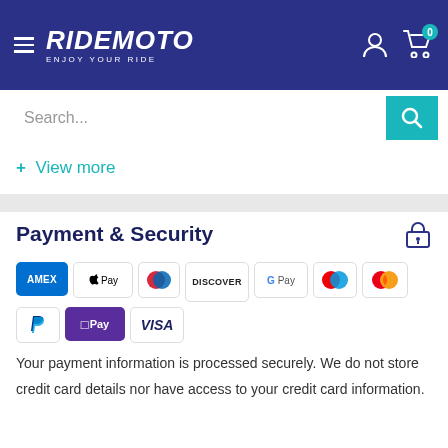RIDEMOTO ENJOY YOUR RIDE
Search...
+ View more
Payment & Security
[Figure (logo): Payment method icons: AMEX, Apple Pay, Diners, Discover, Google Pay, Maestro, Mastercard, PayPal, OPay, VISA]
Your payment information is processed securely. We do not store credit card details nor have access to your credit card information.